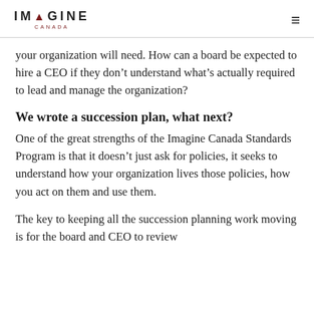IMAGINE CANADA
your organization will need. How can a board be expected to hire a CEO if they don’t understand what’s actually required to lead and manage the organization?
We wrote a succession plan, what next?
One of the great strengths of the Imagine Canada Standards Program is that it doesn’t just ask for policies, it seeks to understand how your organization lives those policies, how you act on them and use them.
The key to keeping all the succession planning work moving is for the board and CEO to review